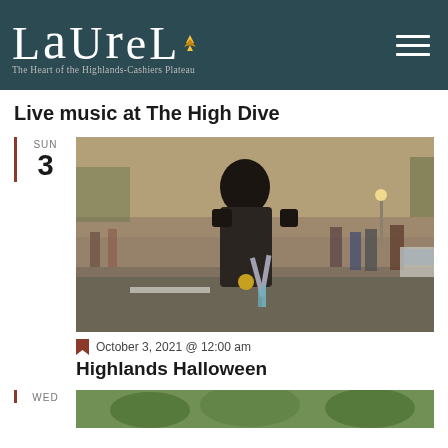LAUREL — The Heart of the Highlands-Cashiers Plateau
Live music at The High Dive
SUN 3
[Figure (photo): Person in Edward Scissorhands costume with dark spiky hair, leather outfit and scissors, walking down a street during Highlands Halloween event at dusk]
October 3, 2021 @ 12:00 am
Highlands Halloween
WED